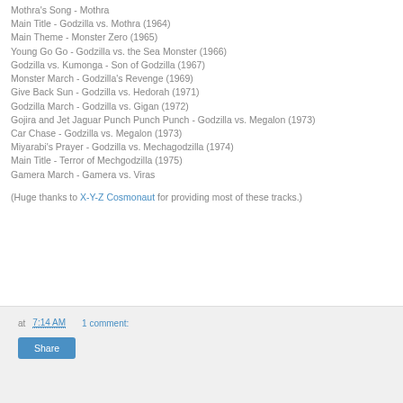Mothra's Song - Mothra
Main Title - Godzilla vs. Mothra (1964)
Main Theme - Monster Zero (1965)
Young Go Go - Godzilla vs. the Sea Monster (1966)
Godzilla vs. Kumonga - Son of Godzilla (1967)
Monster March - Godzilla's Revenge (1969)
Give Back Sun - Godzilla vs. Hedorah (1971)
Godzilla March - Godzilla vs. Gigan (1972)
Gojira and Jet Jaguar Punch Punch Punch - Godzilla vs. Megalon (1973)
Car Chase - Godzilla vs. Megalon (1973)
Miyarabi's Prayer - Godzilla vs. Mechagodzilla (1974)
Main Title - Terror of Mechgodzilla (1975)
Gamera March - Gamera vs. Viras
(Huge thanks to X-Y-Z Cosmonaut for providing most of these tracks.)
at 7:14 AM   1 comment:  Share